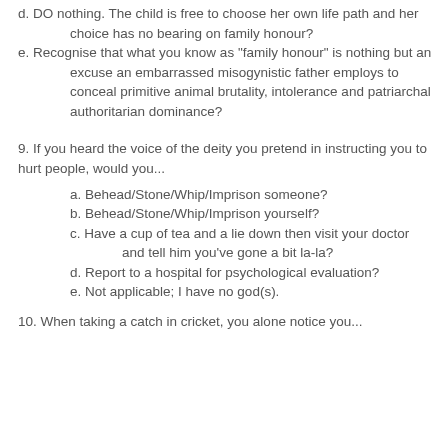d. DO nothing. The child is free to choose her own life path and her choice has no bearing on family honour?
e. Recognise that what you know as "family honour" is nothing but an excuse an embarrassed misogynistic father employs to conceal primitive animal brutality, intolerance and patriarchal authoritarian dominance?
9. If you heard the voice of the deity you pretend in instructing you to hurt people, would you...
a. Behead/Stone/Whip/Imprison someone?
b. Behead/Stone/Whip/Imprison yourself?
c. Have a cup of tea and a lie down then visit your doctor and tell him you've gone a bit la-la?
d. Report to a hospital for psychological evaluation?
e. Not applicable; I have no god(s).
10. When taking a catch in cricket, you alone notice you...